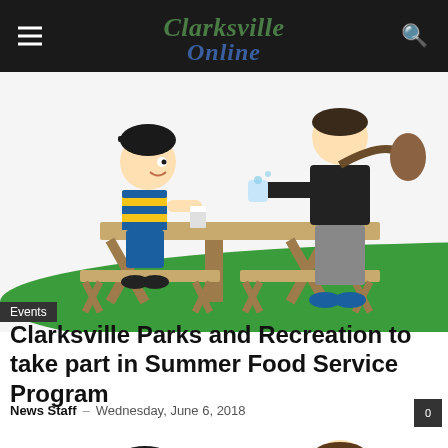Clarksville Online
[Figure (illustration): Cartoon illustration of two children sitting at a picnic table, one receiving a water bottle and food from an adult. Green grass background.]
Events
Clarksville Parks and Recreation to take part in Summer Food Service Program
News Staff – Wednesday, June 6, 2018
[Figure (illustration): Cartoon illustration of a child sitting at a picnic table receiving a tray of food (burger, apple) and a water bottle from an adult.]